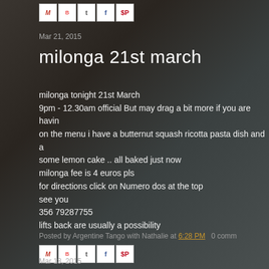Share icons: Gmail, Blogger, Twitter, Facebook, Pinterest
Mar 21, 2015
milonga 21st march
milonga tonight 21st March
9pm - 12.30am official But may drag a bit more if you are havin
on the menu i have a butternut squash ricotta pasta dish and a
some lemon cake .. all baked just now
milonga fee is 4 euros pls
for directions click on Numero dos at the top
see you
356 79287755
lifts back are usually a possibility
Posted by Argentine Tango with Nathalie at 6:28 PM   0 comm
Mar 18, 2015